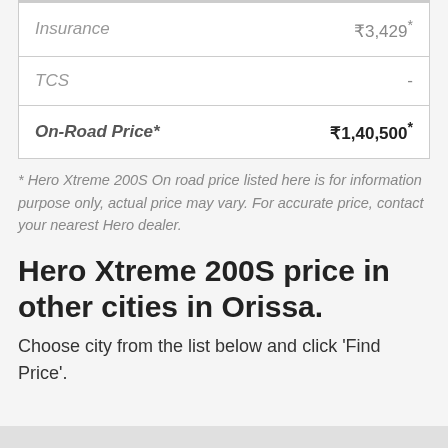|  |  |
| --- | --- |
| Insurance | ₹3,429* |
| TCS | - |
| On-Road Price* | ₹1,40,500* |
* Hero Xtreme 200S On road price listed here is for information purpose only, actual price may vary. For accurate price, contact your nearest Hero dealer.
Hero Xtreme 200S price in other cities in Orissa.
Choose city from the list below and click 'Find Price'.